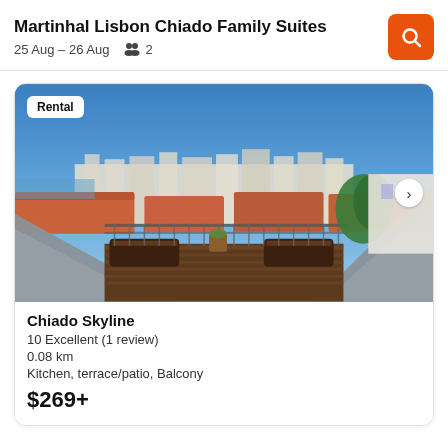Martinhal Lisbon Chiado Family Suites
25 Aug – 26 Aug  👥 2
[Figure (photo): Rooftop terrace with wooden deck chairs overlooking Lisbon skyline and river, with terracotta rooftops and blue sky. Badge reads 'Rental'.]
Chiado Skyline
10 Excellent (1 review)
0.08 km
Kitchen, terrace/patio, Balcony
$269+